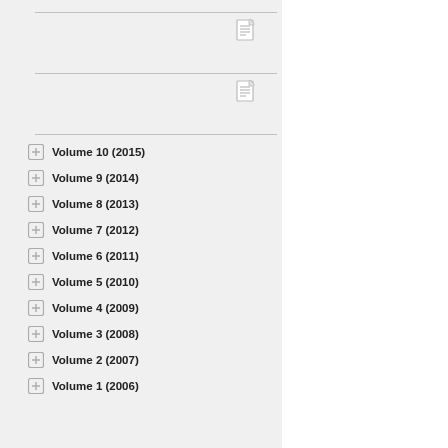Volume 10 (2015)
Volume 9 (2014)
Volume 8 (2013)
Volume 7 (2012)
Volume 6 (2011)
Volume 5 (2010)
Volume 4 (2009)
Volume 3 (2008)
Volume 2 (2007)
Volume 1 (2006)